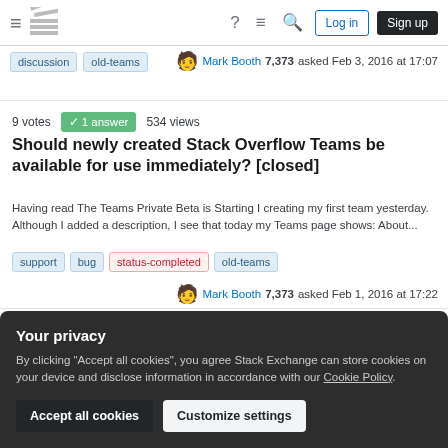Stack Overflow navigation bar with hamburger menu, logo, help, chat, search icons, Log in and Sign up buttons
discussion  old-teams
Mark Booth 7,373 asked Feb 3, 2016 at 17:07
9 votes  ✓ 1 answer  534 views
Should newly created Stack Overflow Teams be available for use immediately? [closed]
Having read The Teams Private Beta is Starting I creating my first team yesterday. Although I added a description, I see that today my Teams page shows: About...
support  bug  status-completed  old-teams
Mark Booth 7,373 asked Feb 1, 2016 at 17:22
Your privacy
By clicking "Accept all cookies", you agree Stack Exchange can store cookies on your device and disclose information in accordance with our Cookie Policy.
Accept all cookies   Customize settings